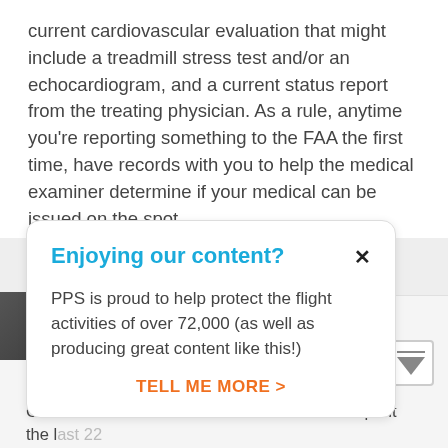current cardiovascular evaluation that might include a treadmill stress test and/or an echocardiogram, and a current status report from the treating physician. As a rule, anytime you're reporting something to the FAA the first time, have records with you to help the medical examiner determine if your medical can be issued on the spot.
[Figure (other): Popup/modal box with header 'Enjoying our content?' and close button (x), body text 'PPS is proud to help protect the flight activities of over 72,000 (as well as producing great content like this!)', and a call-to-action link 'TELL ME MORE >']
Gary Crump
Gary is the Director of AOPA's Pilot Information Center Medical Certification Section and has spent the last 22